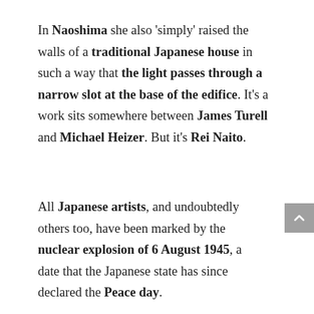In Naoshima she also 'simply' raised the walls of a traditional Japanese house in such a way that the light passes through a narrow slot at the base of the edifice. It's a work sits somewhere between James Turell and Michael Heizer. But it's Rei Naito.
All Japanese artists, and undoubtedly others too, have been marked by the nuclear explosion of 6 August 1945, a date that the Japanese state has since declared the Peace day.